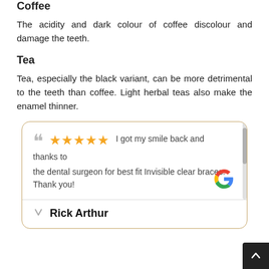Coffee
The acidity and dark colour of coffee discolour and damage the teeth.
Tea
Tea, especially the black variant, can be more detrimental to the teeth than coffee. Light herbal teas also make the enamel thinner.
" ★★★★★ I got my smile back and thanks to the dental surgeon for best fit Invisible clear braces. Thank you!
Rick Arthur